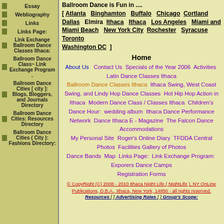Essay
Webliography
Links
Links Page:
Link Exchange Ballroom Dance Classes Ithaca:
Ballroom Dance Class~ Link Exchange Program .
Ballroom Dance Cities [ city ]: Blogs, Bloggers, and Journals Directory
Ballroom Dance Cities: Resources Directory
Ballroom Dance Cities ( City ): Fashions Directory:
Ballroom Dance is Fun in .... [ Atlanta Binghamton Buffalo Chicago Cortland Dallas Elmira Ithaca Ithaca Los Angeles Miami and Miami Beach New York City Rochester Syracuse Toronto Washington DC ]
Home
About Us  Contact Us  Specials of the Year 2006  Activities  Latin Dance Classes Ithaca  Ballroom Dance Classes Ithaca  Ithaca Swing, West Coast Swing, and Lindy Hop Dance Classes  Hot Hip Hop Action in Ithaca  Modern Dance Class / Classes Ithaca  Children's Dance Hour:  wedding album  Ithaca Dance Performance Network  Dance Ithaca E - Magazine  The Falcon Dance Accommodations  My Personal Site  Roger's Online Diary  TFDDA Central Photos  Facilities Gallery of Photos  Dance Bands  Map  Links Page:  Link Exchange Program:  Explorers Dance Camps  Registration Forms
© CopyRight (C) 2008 - 2010 Ithaca Night Life ( NightLife ), NY OnLine Publications, D.B.A., Ithaca, New York, 14850 - all rights reserved.
Resources [ ] Advertising Rates [ ] Group's Scope: